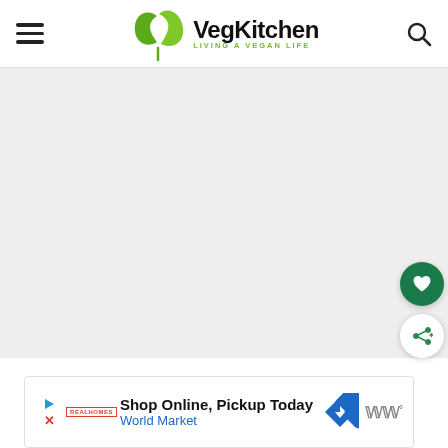VegKitchen — LIVING A VEGAN LIFE
[Figure (illustration): Large light gray placeholder image area below the VegKitchen header navigation bar.]
[Figure (infographic): Dark green circular button with white heart icon (favorite/save button) floating on the right side.]
[Figure (infographic): White circular button with green share/plus icon floating on the right side below the heart button.]
Shop Online, Pickup Today
World Market
[Figure (infographic): Advertisement banner at bottom: Shop Online, Pickup Today — World Market, with a blue navigation arrow icon and a Wm° logo on the right.]